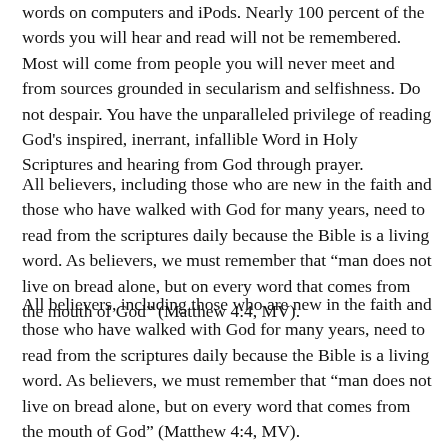words on computers and iPods. Nearly 100 percent of the words you will hear and read will not be remembered. Most will come from people you will never meet and from sources grounded in secularism and selfishness. Do not despair. You have the unparalleled privilege of reading God's inspired, inerrant, infallible Word in Holy Scriptures and hearing from God through prayer.
All believers, including those who are new in the faith and those who have walked with God for many years, need to read from the scriptures daily because the Bible is a living word. As believers, we must remember that “man does not live on bread alone, but on every word that comes from the mouth of God” (Matthew 4:4, MV).
To be a disciple of Jesus Christ is to be intimately involved with Him as a person. It defies logic to say, “I am a follower a disciple, but I do not know my Master or His teachings.” The Holy Spirit was poured out upon the early church for the purpose of revealing Jesus as He is: alive and powerful and making His Word live.
One of the most interesting verses in the Bible is found in Acts 4:13: “When they [rulers, elders, and teachers of the law] saw the